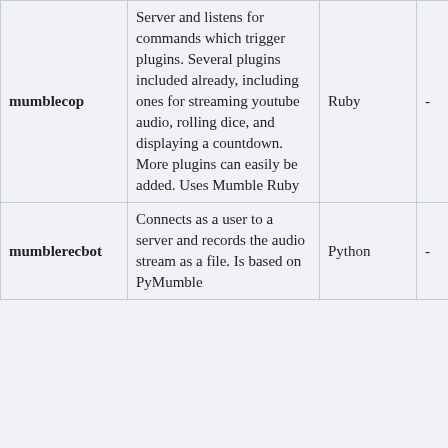| Name | Description | Language | Platform | License |
| --- | --- | --- | --- | --- |
| mumblecop | Server and listens for commands which trigger plugins. Several plugins included already, including ones for streaming youtube audio, rolling dice, and displaying a countdown. More plugins can easily be added. Uses Mumble Ruby | Ruby | - | MIT |
| mumblerecbot | Connects as a user to a server and records the audio stream as a file. Is based on PyMumble... | Python | - | GPL tps:/gnu. ense 3.0.b |